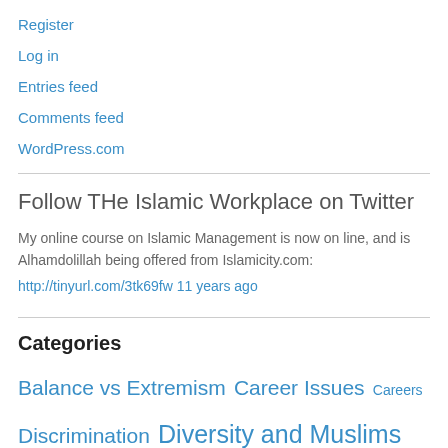Register
Log in
Entries feed
Comments feed
WordPress.com
Follow THe Islamic Workplace on Twitter
My online course on Islamic Management is now on line, and is Alhamdolillah being offered from Islamicity.com:
http://tinyurl.com/3tk69fw 11 years ago
Categories
Balance vs Extremism  Career Issues  Careers  Discrimination  Diversity and Muslims  Ethics & Morals